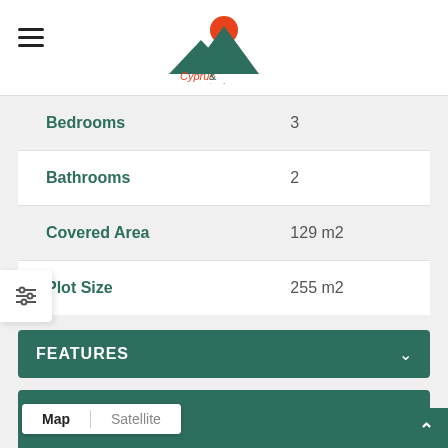[Figure (logo): Cyprus Property & Home logo with mountain and sun icon]
| Property | Value |
| --- | --- |
| Bedrooms | 3 |
| Bathrooms | 2 |
| Covered Area | 129 m2 |
| Plot Size | 255 m2 |
FEATURES
Get Directions
[Figure (map): Google Maps embed showing Map and Satellite toggle buttons with a blue map area]